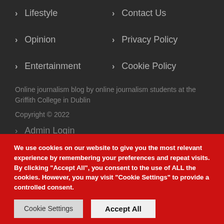> Lifestyle
> Contact Us
> Opinion
> Privacy Policy
> Entertainment
> Cookie Policy
Online journalism blog by online journalism students at the Griffith College in Dublin
Copyright © 2022
> Admin Login
We use cookies on our website to give you the most relevant experience by remembering your preferences and repeat visits. By clicking "Accept All", you consent to the use of ALL the cookies. However, you may visit "Cookie Settings" to provide a controlled consent.